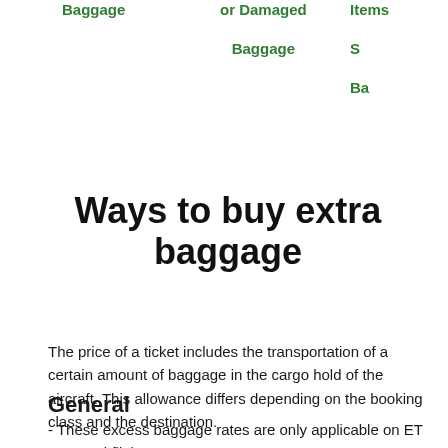Baggage | or Damaged Baggage | Items S Ba
Ways to buy extra baggage
The price of a ticket includes the transportation of a certain amount of baggage in the cargo hold of the aircraft. This allowance differs depending on the booking class and the destination.
General
- These excess baggage rates are only applicable on ET operated flights
-These excess baggage rates shall be applicable